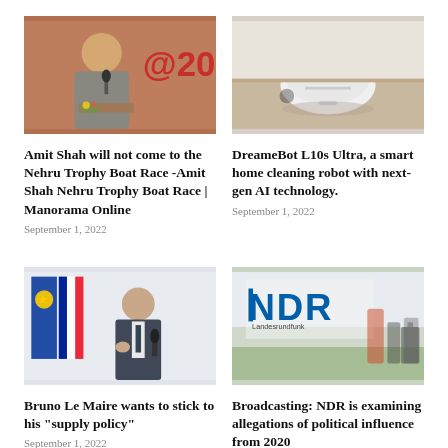[Figure (photo): Man speaking at a podium with '@20' signage in background]
Amit Shah will not come to the Nehru Trophy Boat Race -Amit Shah Nehru Trophy Boat Race | Manorama Online
September 1, 2022
[Figure (photo): DreameBot L10s Ultra robot vacuum cleaner on a carpet]
DreameBot L10s Ultra, a smart home cleaning robot with next-gen AI technology.
September 1, 2022
[Figure (photo): Bruno Le Maire speaking at a podium with EU and French flags in background]
Bruno Le Maire wants to stick to his “supply policy”
September 1, 2022
[Figure (photo): NDR logo on a building with blurred people in background]
Broadcasting: NDR is examining allegations of political influence from 2020